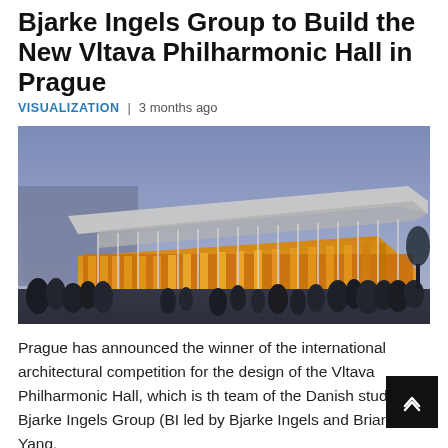Bjarke Ingels Group to Build the New Vltava Philharmonic Hall in Prague
VISUALIZATION  |  3 months ago
[Figure (photo): Architectural rendering of the Vltava Philharmonic Hall at dusk, showing a modern building with a large cantilevered roof, illuminated warm interior visible through glass facade, with crowd of people in foreground on plaza]
Prague has announced the winner of the international architectural competition for the design of the Vltava Philharmonic Hall, which is the team of the Danish studio Bjarke Ingels Group (BIG) led by Bjarke Ingels and Brian Yang.